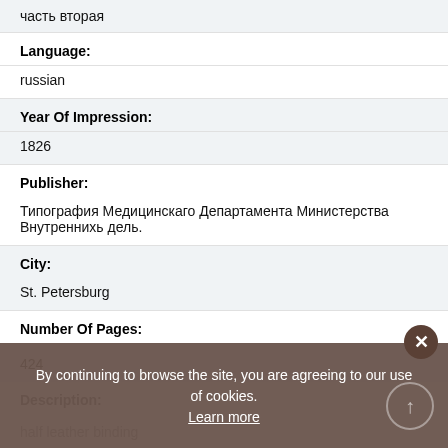часть вторая
Language:
russian
Year Of Impression:
1826
Publisher:
Типография Медицинскаго Департамента Министерства Внутреннихь дель.
City:
St. Petersburg
Number Of Pages:
424
Description:
half leather binding
By continuing to browse the site, you are agreeing to our use of cookies. Learn more